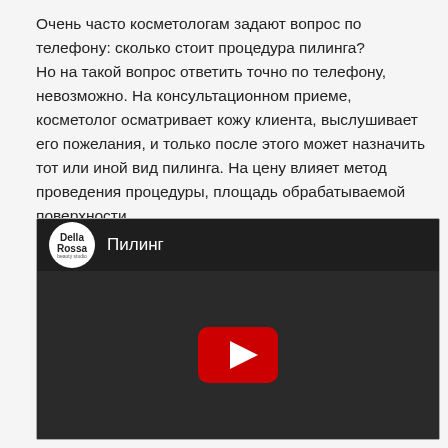Очень часто косметологам задают вопрос по телефону: сколько стоит процедура пилинга?
Но на такой вопрос ответить точно по телефону, невозможно. На консультационном приеме, косметолог осматривает кожу клиента, выслушивает его пожелания, и только после этого может назначить тот или иной вид пилинга. На цену влияет метод проведения процедуры, площадь обрабатываемой поверхности.
[Figure (screenshot): Embedded YouTube video thumbnail with Della Rossa logo and title 'Пилинг'. Dark background showing a cosmetologist at work, with a YouTube play button overlay in the center.]